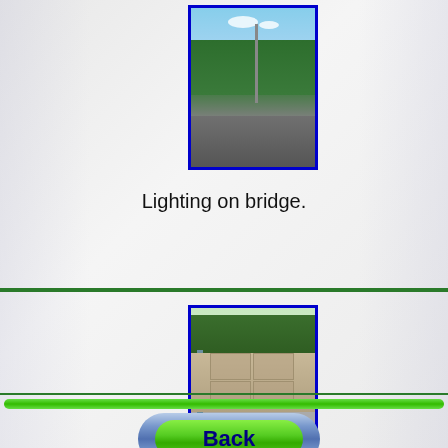[Figure (photo): Photo of lighting on a bridge, showing a lamppost, trees, and road surface, with a blue border]
Lighting on bridge.
[Figure (photo): Photo of south abutment of bridge showing concrete wall panels, scaffolding, and vegetation, with a blue border]
South abutment.
[Figure (other): Green horizontal scroll/progress bar]
[Figure (other): Back navigation button with blue outer ring and green oval inner button]